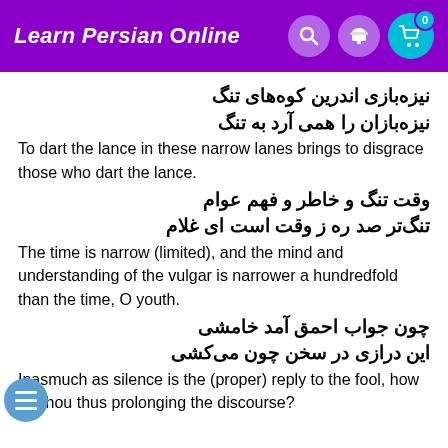Learn Persian Online
نیزه‌بازی اندرین کوه‌های تنگ
نیزه‌بازان را همی آرد به تنگ
To dart the lance in these narrow lanes brings to disgrace those who dart the lance.
وقت تنگ و خاطر و فهم عوام
تنگ‌تر صد ره ز وقت است ای غلام
The time is narrow (limited), and the mind and understanding of the vulgar is narrower a hundredfold than the time, O youth.
چون جواب احمق آمد خامشی
این درازی در سخن چون می‌کشی
Inasmuch as silence is the (proper) reply to the fool, how art thou thus prolonging the discourse?